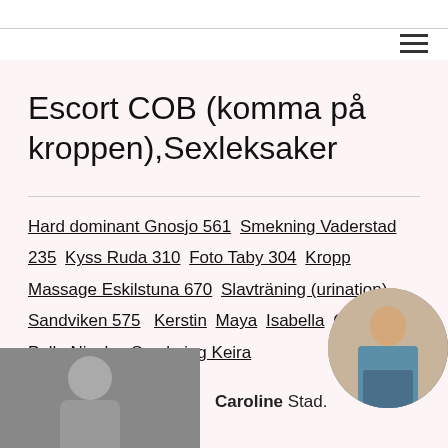≡
Escort COB (komma på kroppen),Sexleksaker
Hard dominant Gnosjo 561  Smekning Vaderstad 235  Kyss Ruda 310  Foto Taby 304  Kropp Massage Eskilstuna 670  Slavträning (urination) Sandviken 575   Kerstin  Maya  Isabella  Chloe  Pulla Nicole   Smekning Keira
[Figure (photo): Black and white photo of a person, bottom left]
Caroline Stad.
[Figure (photo): Circular cropped photo of a woman in a teal top and denim shorts, bottom right]